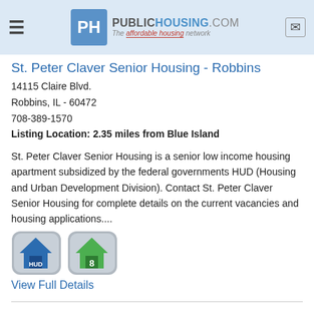PublicHousing.com — The affordable housing network
St. Peter Claver Senior Housing - Robbins
14115 Claire Blvd.
Robbins, IL - 60472
708-389-1570
Listing Location: 2.35 miles from Blue Island
St. Peter Claver Senior Housing is a senior low income housing apartment subsidized by the federal governments HUD (Housing and Urban Development Division). Contact St. Peter Claver Senior Housing for complete details on the current vacancies and housing applications....
[Figure (infographic): Two icon badges: one showing a house with 'HUD' label (blue house icon on grey rounded square), one showing a house with '8' label (green house icon on grey rounded square)]
View Full Details
Oasis Senior Living - Chicago